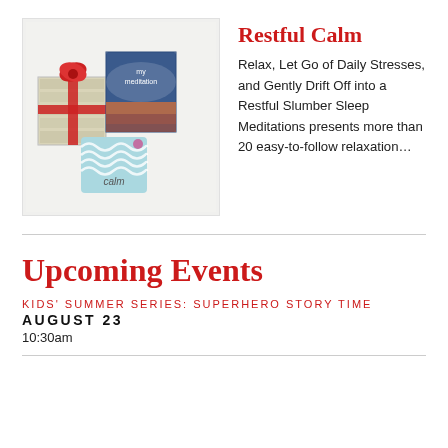[Figure (photo): Photo of gift-wrapped items including a package with red ribbon, a meditation book, and a blue 'Calm' branded item on a light background]
Restful Calm
Relax, Let Go of Daily Stresses, and Gently Drift Off into a Restful Slumber Sleep Meditations presents more than 20 easy-to-follow relaxation…
Upcoming Events
KIDS' SUMMER SERIES: SUPERHERO STORY TIME
AUGUST 23
10:30am